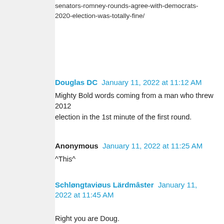senators-romney-rounds-agree-with-democrats-2020-election-was-totally-fine/
Douglas DC  January 11, 2022 at 11:12 AM
Mighty Bold words coming from a man who threw 2012
election in the 1st minute of the first round.
Anonymous  January 11, 2022 at 11:25 AM
^This^
Schløngtaviøus Lärdmâster  January 11, 2022 at 11:45 AM
Right you are Doug.

I expect which pap from Dilecto.

I've never heard of Rounds. I'm sorry I now have.